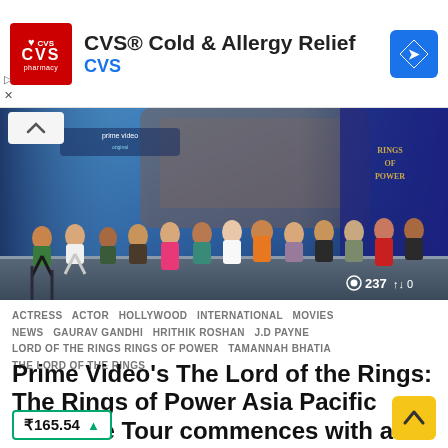[Figure (infographic): CVS Pharmacy advertisement banner with red CVS logo on the left, bold text 'CVS® Cold & Allergy Relief' and blue 'CVS' subtitle, and a blue diamond navigation icon on the right]
[Figure (photo): Panel of around 13 people seated on stage at the Prime Video Rings of Power Asia Pacific Premiere event, with Prime Video and Rings of Power banners in the background. View count 237 and share count 0 overlaid at bottom right.]
ACTRESS   ACTOR   HOLLYWOOD   INTERNATIONAL   MOVIES   NEWS   GAURAV GANDHI   HRITHIK ROSHAN   J.D PAYNE   LORD OF THE RINGS RINGS OF POWER   TAMANNAH BHATIA   THE LORD OF THE RINGS
Prime Video's The Lord of the Rings: The Rings of Power Asia Pacific Premiere Tour commences with a bang!
₹165.54 ▲